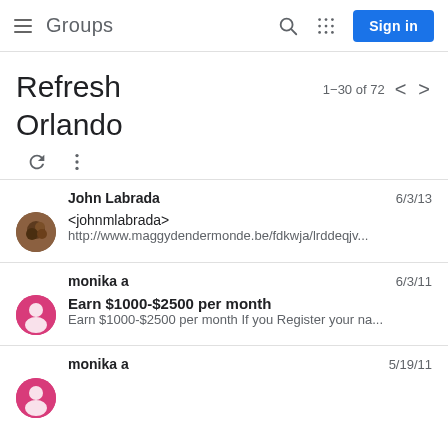Groups  Sign in
Refresh Orlando
1-30 of 72
John Labrada  6/3/13  <johnmlabrada>  http://www.maggydendermonde.be/fdkwja/lrddeqjv...
monika a  6/3/11  Earn $1000-$2500 per month  Earn $1000-$2500 per month If you Register your na...
monika a  5/19/11